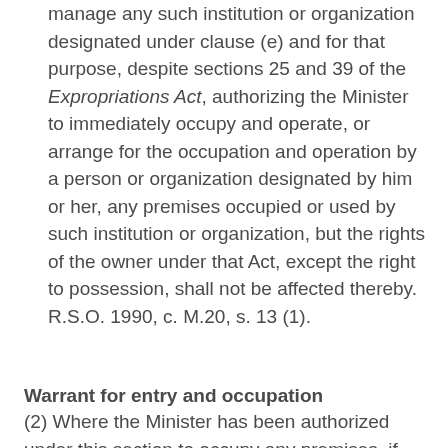manage any such institution or organization designated under clause (e) and for that purpose, despite sections 25 and 39 of the Expropriations Act, authorizing the Minister to immediately occupy and operate, or arrange for the occupation and operation by a person or organization designated by him or her, any premises occupied or used by such institution or organization, but the rights of the owner under that Act, except the right to possession, shall not be affected thereby.  R.S.O. 1990, c. M.20, s. 13 (1).
Warrant for entry and occupation
(2) Where the Minister has been authorized under this section to occupy any premises, if the